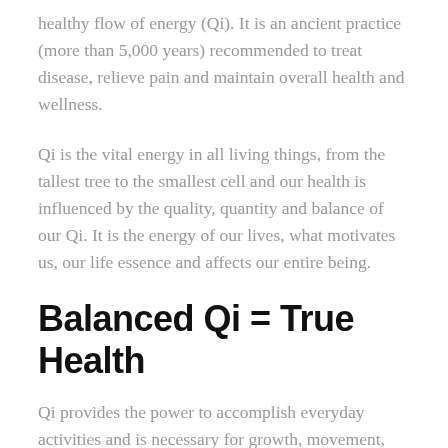healthy flow of energy (Qi). It is an ancient practice (more than 5,000 years) recommended to treat disease, relieve pain and maintain overall health and wellness.
Qi is the vital energy in all living things, from the tallest tree to the smallest cell and our health is influenced by the quality, quantity and balance of our Qi. It is the energy of our lives, what motivates us, our life essence and affects our entire being.
Balanced Qi = True Health
Qi provides the power to accomplish everyday activities and is necessary for growth, movement, body temperature, protection against illness and